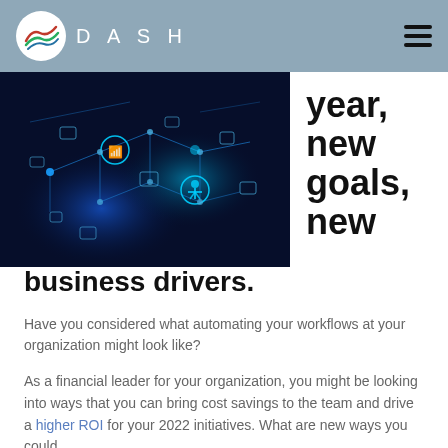DASH
[Figure (photo): Technology network connectivity illustration with glowing circuit/IoT icons on dark blue background]
year, new goals, new business drivers.
Have you considered what automating your workflows at your organization might look like?
As a financial leader for your organization, you might be looking into ways that you can bring cost savings to the team and drive a higher ROI for your 2022 initiatives. What are new ways you could